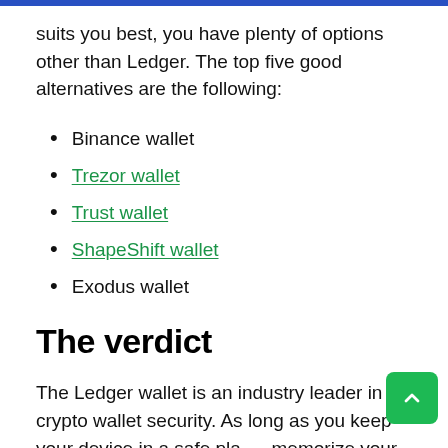suits you best, you have plenty of options other than Ledger. The top five good alternatives are the following:
Binance wallet
Trezor wallet
Trust wallet
ShapeShift wallet
Exodus wallet
The verdict
The Ledger wallet is an industry leader in crypto wallet security. As long as you keep your device in a safe place, memorize your PIN, and secure the recovery phrase, the risk of losing your crypto funds is near zero.